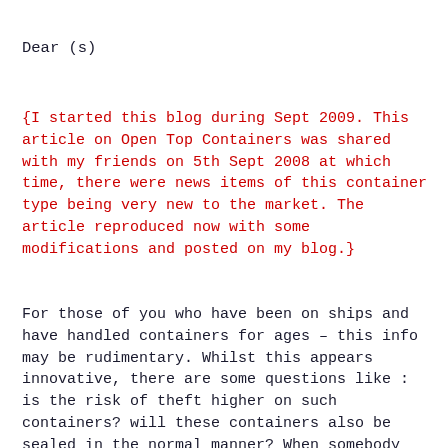Dear (s)
{I started this blog during Sept 2009. This article on Open Top Containers was shared with my friends on 5th Sept 2008 at which time, there were news items of this container type being very new to the market. The article reproduced now with some modifications and posted on my blog.}
For those of you who have been on ships and have handled containers for ages – this info may be rudimentary. Whilst this appears innovative, there are some questions like : is the risk of theft higher on such containers? will these containers also be sealed in the normal manner? When somebody